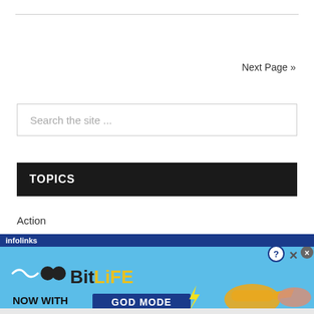Next Page »
Search the site ...
TOPICS
Action
[Figure (screenshot): Advertisement banner for BitLife game app with 'NOW WITH GOD MODE' text, on a blue background with pointing hand graphics. Infolinks ad label visible at top.]